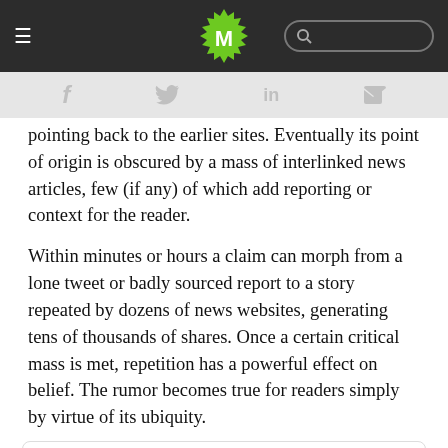Navigation bar with hamburger menu, M logo, and search bar
Social share icons: f (Facebook), Twitter bird, in (LinkedIn), envelope (email)
pointing back to the earlier sites. Eventually its point of origin is obscured by a mass of interlinked news articles, few (if any) of which add reporting or context for the reader.
Within minutes or hours a claim can morph from a lone tweet or badly sourced report to a story repeated by dozens of news websites, generating tens of thousands of shares. Once a certain critical mass is met, repetition has a powerful effect on belief. The rumor becomes true for readers simply by virtue of its ubiquity.
[Figure (screenshot): Tweet from @ComfortablySmug: BREAKING: Confirmed flooding on NYSE. The trading floor is flooded under more than]